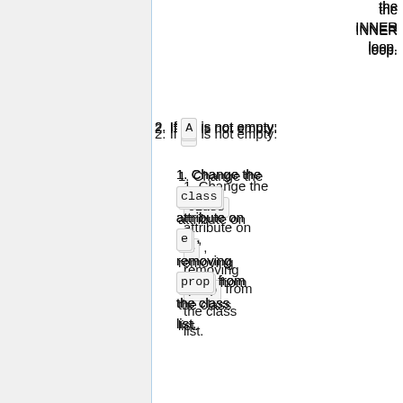the INNER loop.
2. If A is not empty:
1. Change the class attribute on e , removing prop from the class list.
2. If property prop is singular, jump out of the OUTER loop.
6. If prop is a singular property, let A[0] be its